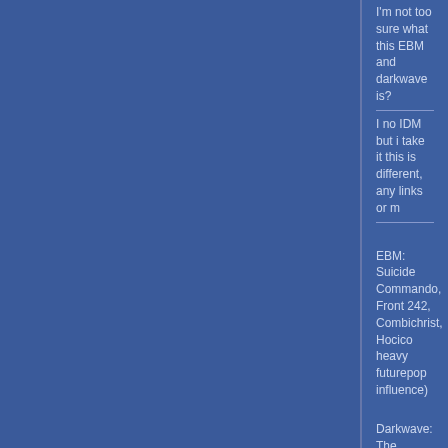I'm not too sure what this EBM and darkwave is?
I no IDM but i take it this is different, any links or m
EBM: Suicide Commando, Front 242, Combichrist, Hocico heavy futurepop influence)
Darkwave: The Crüxshadows, Das Ich (has a lot of EBM in
Funker Vogt, Project Pitchfork, Apoptygma Berzerk, Girls Under Glass, Controlled Fusion, The Eternal A
Knightmare
quote:
Originally posted by Simon:
quote:
Originally posted by Knightmare:
quote:
Originally posted by Chris B:
I'm not too sure what this EBM and dark
I no IDM but i take it this is different, any
EBM: Suicide Commando, Front 242, Combichris Assemblage 23 (with heavy futurepop influence)
Darkwave: The Crüxshadows, Das Ich (has a lo